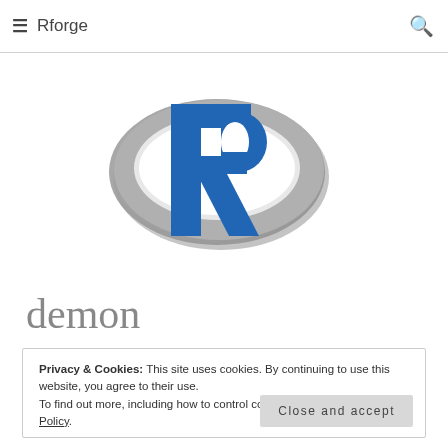Rforge
[Figure (logo): R programming language logo: blue letter R with grey oval ring around it]
demon
Privacy & Cookies: This site uses cookies. By continuing to use this website, you agree to their use.
To find out more, including how to control cookies, see here: Cookie Policy
Close and accept